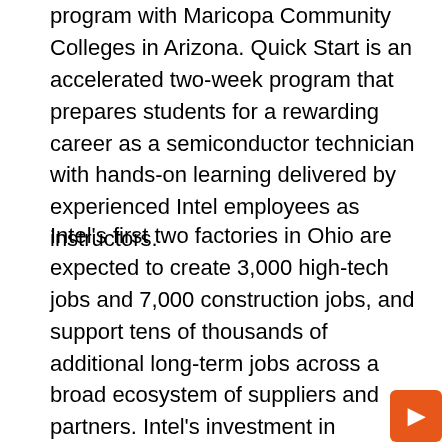program with Maricopa Community Colleges in Arizona. Quick Start is an accelerated two-week program that prepares students for a rewarding career as a semiconductor technician with hands-on learning delivered by experienced Intel employees as instructors.
Intel's first two factories in Ohio are expected to create 3,000 high-tech jobs and 7,000 construction jobs, and support tens of thousands of additional long-term jobs across a broad ecosystem of suppliers and partners. Intel's investment in partnerships with educational institutions and the NSF is part of the company's efforts to build a pool of skilled talent and strengthen research programs in the region and across the United States.